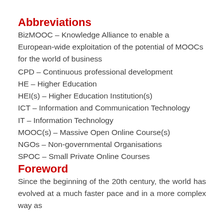Abbreviations
BizMOOC – Knowledge Alliance to enable a European-wide exploitation of the potential of MOOCs for the world of business
CPD – Continuous professional development
HE – Higher Education
HEI(s) – Higher Education Institution(s)
ICT – Information and Communication Technology
IT – Information Technology
MOOC(s) – Massive Open Online Course(s)
NGOs – Non-governmental Organisations
SPOC – Small Private Online Courses
Foreword
Since the beginning of the 20th century, the world has evolved at a much faster pace and in a more complex way as